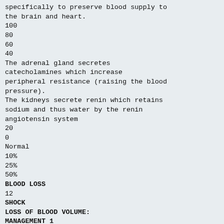specifically to preserve blood supply to the brain and heart.
100
80
60
40
The adrenal gland secretes catecholamines which increase peripheral resistance (raising the blood pressure).
The kidneys secrete renin which retains sodium and thus water by the renin angiotensin system
20
0
Normal
10%
25%
50%
BLOOD LOSS
12
SHOCK
LOSS OF BLOOD VOLUME:
MANAGEMENT 1
120
100
These early compensatory changes suffice if <25% blood volume lost.
80
60
40
20
If>25% blood volume lost then